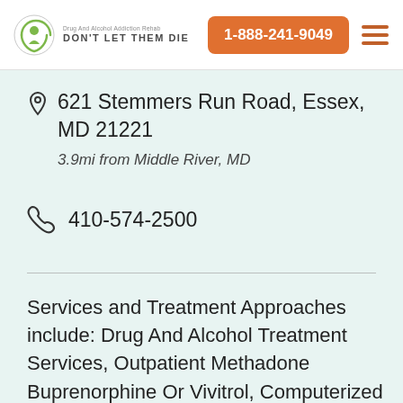DON'T LET THEM DIE | 1-888-241-9049
621 Stemmers Run Road, Essex, MD 21221
3.9mi from Middle River, MD
410-574-2500
Services and Treatment Approaches include: Drug And Alcohol Treatment Services, Outpatient Methadone Buprenorphine Or Vivitrol, Computerized Treatment, Substance Abuse Counseling